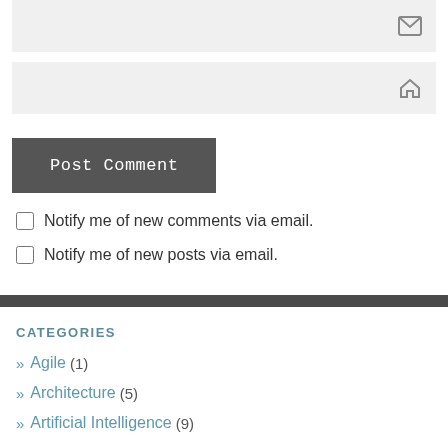[Figure (other): Email input field with envelope icon on the right]
[Figure (other): Website/URL input field with home icon on the right]
Post Comment
Notify me of new comments via email.
Notify me of new posts via email.
CATEGORIES
» Agile (1)
» Architecture (5)
» Artificial Intelligence (9)